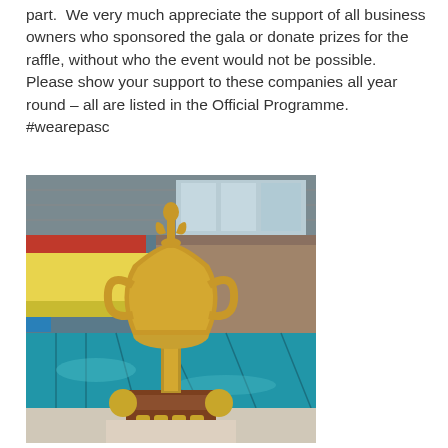part.  We very much appreciate the support of all business owners who sponsored the gala or donate prizes for the raffle, without who the event would not be possible.  Please show your support to these companies all year round – all are listed in the Official Programme.  #wearepasc
[Figure (photo): A golden trophy cup on a wooden base with shield plaques, placed in front of an indoor swimming pool with colorful bleacher seating visible in the background.]